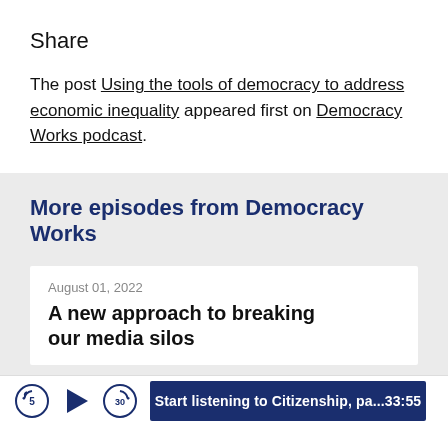Share
The post Using the tools of democracy to address economic inequality appeared first on Democracy Works podcast.
More episodes from Democracy Works
August 01, 2022
A new approach to breaking our media silos
Start listening to Citizenship, pa...33:55